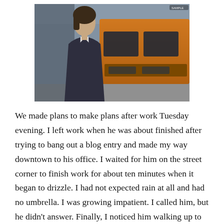[Figure (photo): A young man in a dark pinstripe suit with an open-collar white shirt walking on a city street, with a large orange bus or truck visible in the background.]
We made plans to make plans after work Tuesday evening. I left work when he was about finished after trying to bang out a blog entry and made my way downtown to his office. I waited for him on the street corner to finish work for about ten minutes when it began to drizzle. I had not expected rain at all and had no umbrella. I was growing impatient. I called him, but he didn't answer. Finally, I noticed him walking up to me at a very slow pace with his headphones attached to his phone.